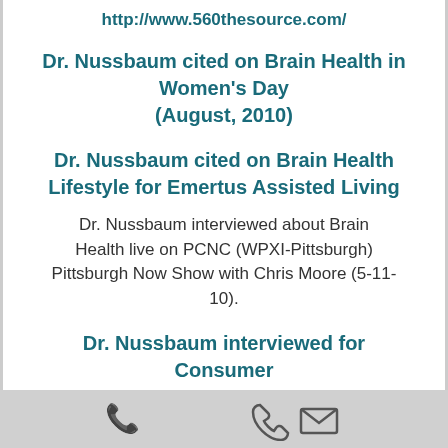http://www.560thesource.com/
Dr. Nussbaum cited on Brain Health in Women's Day (August, 2010)
Dr. Nussbaum cited on Brain Health Lifestyle for Emertus Assisted Living
Dr. Nussbaum interviewed about Brain Health live on PCNC (WPXI-Pittsburgh) Pittsburgh Now Show with Chris Moore (5-11-10).
Dr. Nussbaum interviewed for Consumer
[Figure (other): Bottom navigation bar with phone and email icons]